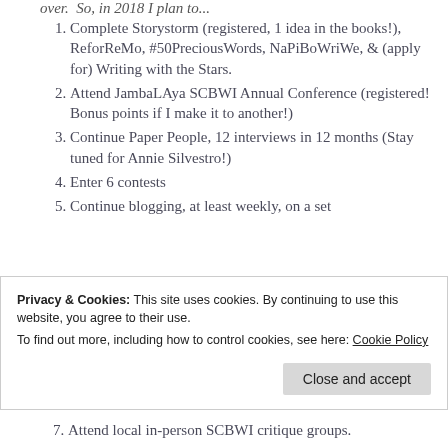over. So, in 2018 I plan to...
Complete Storystorm (registered, 1 idea in the books!), ReforReMo, #50PreciousWords, NaPiBoWriWe, & (apply for) Writing with the Stars.
Attend JambaLAya SCBWI Annual Conference (registered! Bonus points if I make it to another!)
Continue Paper People, 12 interviews in 12 months (Stay tuned for Annie Silvestro!)
Enter 6 contests
Continue blogging, at least weekly, on a set
Privacy & Cookies: This site uses cookies. By continuing to use this website, you agree to their use.
To find out more, including how to control cookies, see here: Cookie Policy
Attend local in-person SCBWI critique groups.